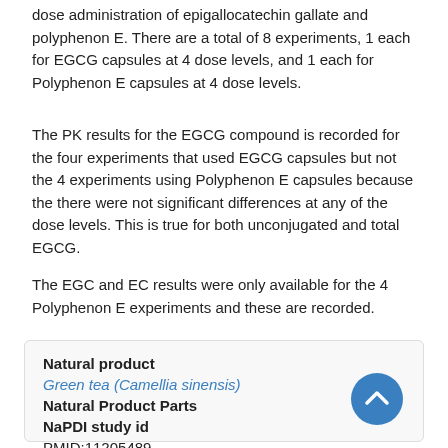dose administration of epigallocatechin gallate and polyphenon E. There are a total of 8 experiments, 1 each for EGCG capsules at 4 dose levels, and 1 each for Polyphenon E capsules at 4 dose levels.
The PK results for the EGCG compound is recorded for the four experiments that used EGCG capsules but not the 4 experiments using Polyphenon E capsules because the there were not significant differences at any of the dose levels. This is true for both unconjugated and total EGCG.
The EGC and EC results were only available for the 4 Polyphenon E experiments and these are recorded.
| Natural product |  |
| Green tea (Camellia sinensis) |  |
| Natural Product Parts |  |
| NaPDI study id |  |
| PMID:11205489 |  |
| PubMed |  |
| 11205489 ↗ |  |